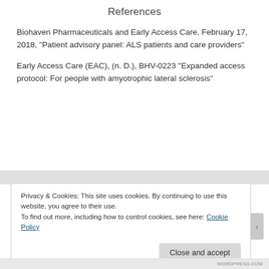References
Biohaven Pharmaceuticals and Early Access Care, February 17, 2018, “Patient advisory panel: ALS patients and care providers”
Early Access Care (EAC), (n. D.), BHV-0223 “Expanded access protocol: For people with amyotrophic lateral sclerosis”
Privacy & Cookies: This site uses cookies. By continuing to use this website, you agree to their use.
To find out more, including how to control cookies, see here: Cookie Policy
Close and accept